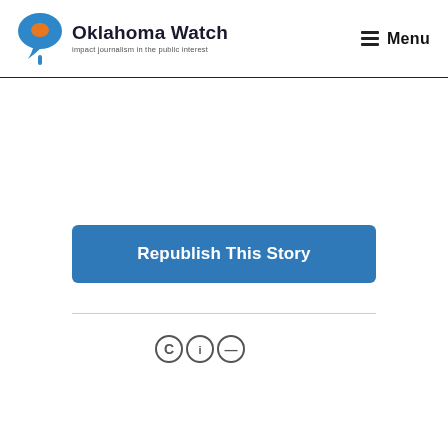Oklahoma Watch — impact journalism in the public interest | Menu
[Figure (other): Large blank white advertisement/content area in the middle of the page]
Republish This Story
[Figure (other): Creative Commons license icons at bottom of page]